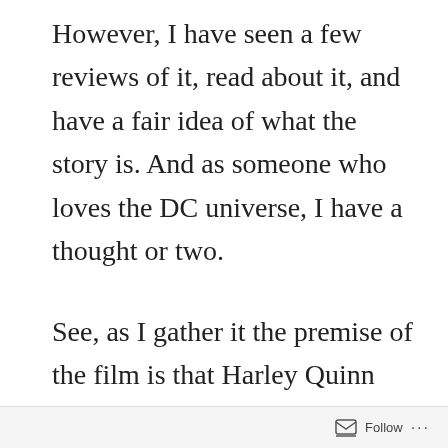However, I have seen a few reviews of it, read about it, and have a fair idea of what the story is. And as someone who loves the DC universe, I have a thought or two.
See, as I gather it the premise of the film is that Harley Quinn has broken up with the Joker, and the film is about her proving that she can stand on her own
Follow ...